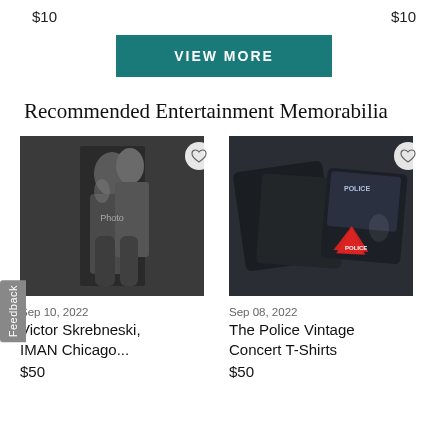$10    $10
VIEW MORE
Recommended Entertainment Memorabilia
[Figure (photo): Black and white photo of Victor Skrebneski, IMAN Chicago - two models posing]
Sep 10, 2022
Victor Skrebneski, IMAN Chicago...
$50
[Figure (photo): The Police Vintage Concert T-Shirts - dark colored band shirts with Police logo merchandise]
Sep 08, 2022
The Police Vintage Concert T-Shirts
$50